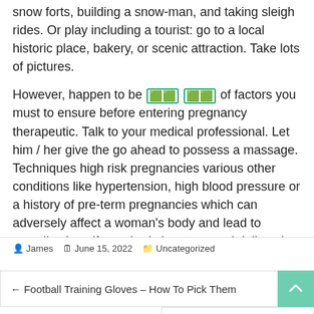snow forts, building a snow-man, and taking sleigh rides. Or play including a tourist: go to a local historic place, bakery, or scenic attraction. Take lots of pictures.
However, happen to be [emoji] [emoji] of factors you must to ensure before entering pregnancy therapeutic. Talk to your medical professional. Let him / her give the go ahead to possess a massage. Techniques high risk pregnancies various other conditions like hypertension, high blood pressure or a history of pre-term pregnancies which can adversely affect a woman's body and lead to complications if your body is not treated delicately. A doctor in order to able to resolve your questions and advice you and thus.
James   June 15, 2022   Uncategorized
← Football Training Gloves – How To Pick Them
Branding Your Image With Logo Design...